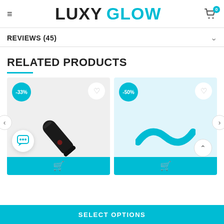LUXY GLOW
REVIEWS (45)
RELATED PRODUCTS
[Figure (photo): Black pen-shaped device with -33% discount badge and heart wishlist button, on grey background with shopping cart icon strip]
[Figure (photo): Teal/cyan curved boomerang-shaped product with -50% discount badge and heart wishlist button, on light blue background with shopping cart icon strip]
SELECT OPTIONS